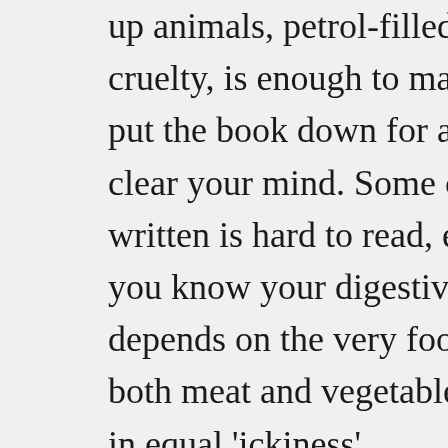up animals, petrol-filled pigs, and cruelty, is enough to make you want to put the book down for a moment to clear your mind. Some of what's written is hard to read, especially when you know your digestive system depends on the very food discussed – both meat and vegetables are described in equal 'ickiness'.
This is balanced by Pollan's second study, natural farming. 'Beyond organic' (organic as a completely natural method having been debunked earlier), this is where Pollan introduces the reader to the farmers who work entirely with nature. Of particular